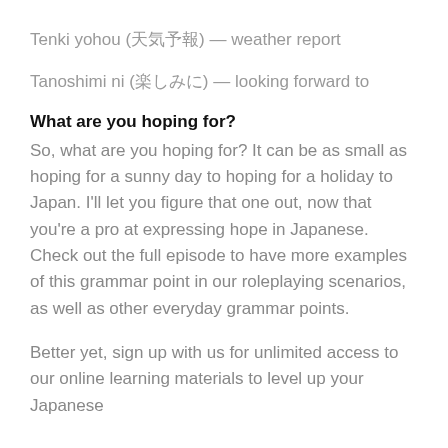Tenki yohou (天気予報) — weather report
Tanoshimi ni (楽しみに) — looking forward to
What are you hoping for?
So, what are you hoping for? It can be as small as hoping for a sunny day to hoping for a holiday to Japan. I'll let you figure that one out, now that you're a pro at expressing hope in Japanese. Check out the full episode to have more examples of this grammar point in our roleplaying scenarios, as well as other everyday grammar points.
Better yet, sign up with us for unlimited access to our online learning materials to level up your Japanese